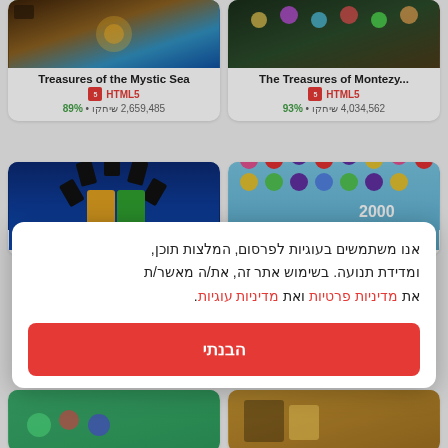[Figure (screenshot): Treasures of the Mystic Sea game thumbnail]
Treasures of the Mystic Sea
HTML5
2,659,485 שיחקו · 89%
[Figure (screenshot): The Treasures of Montezuma game thumbnail]
The Treasures of Montezу...
HTML5
4,034,562 שיחקו · 93%
[Figure (screenshot): Four Colors card game thumbnail]
Four Colors
[Figure (screenshot): Fruita Crush fruit match game thumbnail]
Fruita Crush
אנו משתמשים בעוגיות לפרסום, המלצות תוכן, ומדידת תנועה. בשימוש אתר זה, את/ה מאשר/ת את מדיניות פרטיות ואת מדיניות עוגיות.
הבנתי